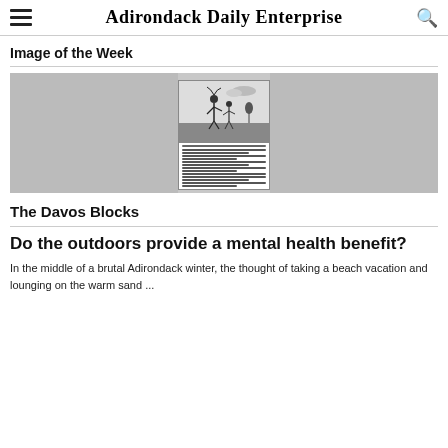Adirondack Daily Enterprise
Image of the Week
[Figure (illustration): A vintage black and white illustration/print showing two figures in a landscape, along with text below resembling a poem or caption. The image appears to be a newspaper clipping or old print.]
The Davos Blocks
Do the outdoors provide a mental health benefit?
In the middle of a brutal Adirondack winter, the thought of taking a beach vacation and lounging on the warm sand ...